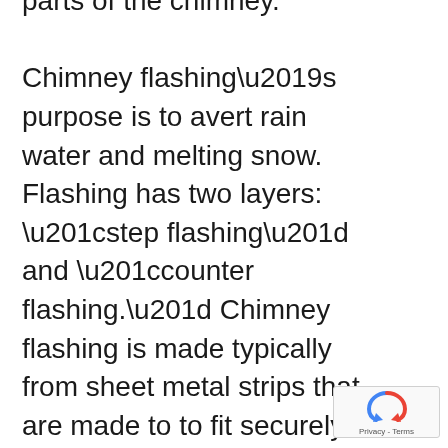parts of the chimney.

Chimney flashing’s purpose is to avert rain water and melting snow. Flashing has two layers: “step flashing” and “counter flashing.” Chimney flashing is made typically from sheet metal strips that are made to to fit securely around the base of your chimney where it intersects with the roof. If water is allowed to flow down into the structure through a gap started by broken or missing flashing, there